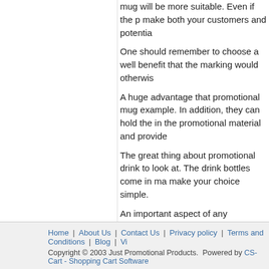mug will be more suitable. Even if the p make both your customers and potentia
One should remember to choose a well benefit that the marking would otherwis
A huge advantage that promotional mug example. In addition, they can hold the in the promotional material and provide
The great thing about promotional drink to look at. The drink bottles come in ma make your choice simple.
An important aspect of any marketing ca repeat purchases. In addition to express could be most effective at small trade sh
Coffee mugs and drink bottles do not ju appreciated is often a great way to impr
When used effectively, promotional drin customers and potential customers alike customers.
Promotional coffee mugs and drink bott
Home | About Us | Contact Us | Privacy policy | Terms and Conditions | Blog | Vi Copyright © 2003 Just Promotional Products. Powered by CS-Cart - Shopping Cart Software